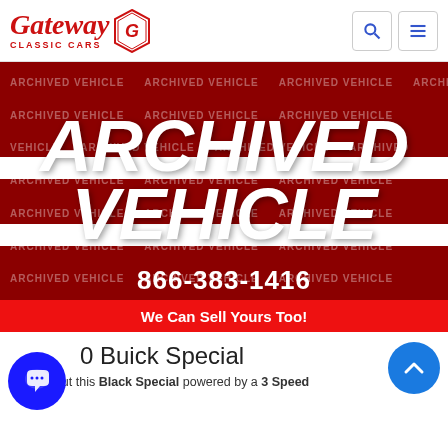Gateway Classic Cars
[Figure (illustration): Archived vehicle banner image with red background, diagonal watermark text reading 'ARCHIVED VEHICLE', large white bold italic text 'ARCHIVED VEHICLE', phone number 866-383-1416, and red strip 'We Can Sell Yours Too!']
0 Buick Special
Check out this Black Special powered by a 3 Speed